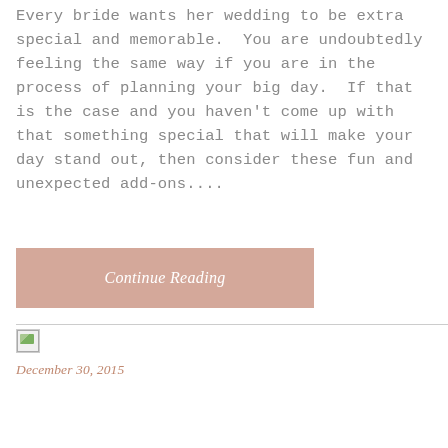Every bride wants her wedding to be extra special and memorable.  You are undoubtedly feeling the same way if you are in the process of planning your big day.  If that is the case and you haven't come up with that something special that will make your day stand out, then consider these fun and unexpected add-ons....
[Figure (other): Pink/rose-colored button with italic text 'Continue Reading']
[Figure (other): Broken image thumbnail with landscape icon]
December 30, 2015